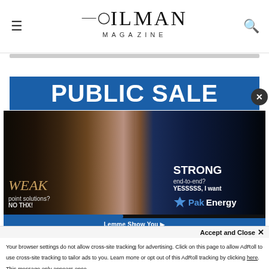OILMAN MAGAZINE
[Figure (photo): Advertisement showing two halves: left side with white rabbit/mouse labeled WEAK point solutions? NO THX!, right side with blue-tinted wolf labeled STRONG end-to-end? YESSSSS, I want PakEnergy]
PUBLIC SALE
Lemme Show You ▶
Accept and Close ✕
Your browser settings do not allow cross-site tracking for advertising. Click on this page to allow AdRoll to use cross-site tracking to tailor ads to you. Learn more or opt out of this AdRoll tracking by clicking here. This message only appears once.